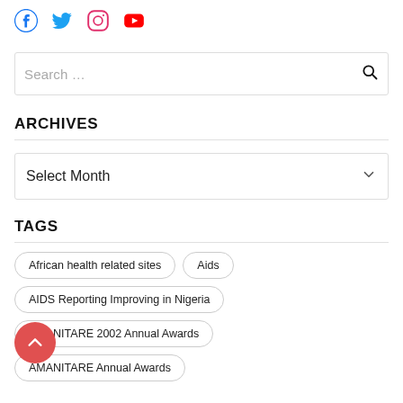[Figure (illustration): Social media icons row: Facebook (blue), Twitter (blue bird), Instagram (pink/red rounded square), YouTube (red play button)]
Search ...
ARCHIVES
Select Month
TAGS
African health related sites
Aids
AIDS Reporting Improving in Nigeria
AMANITARE 2002 Annual Awards
AMANITARE Annual Awards